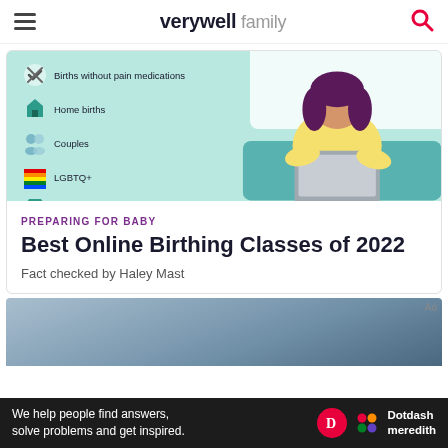verywell family
[Figure (illustration): Illustration showing a checklist with items: Births without pain medications, Home births, Couples, LGBTQ+, Non-support options. A pregnant woman sitting on a couch with a laptop is shown on the right side.]
PREPARING FOR BABY
Best Online Birthing Classes of 2022
Fact checked by Haley Mast
[Figure (photo): Partial photo of a person in blue medical scrubs in a medical setting]
Ad
We help people find answers, solve problems and get inspired. Dotdash meredith